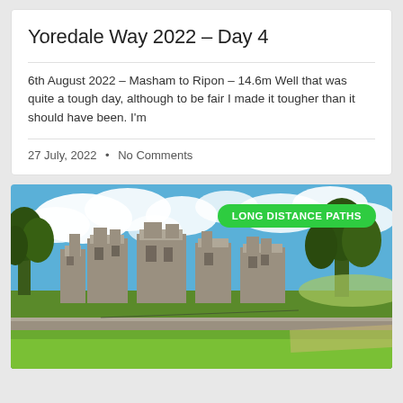Yoredale Way 2022 – Day 4
6th August 2022 – Masham to Ripon – 14.6m Well that was quite a tough day, although to be fair I made it tougher than it should have been. I'm
27 July, 2022  •  No Comments
[Figure (photo): Photograph of castle ruins with green grass, trees, and blue sky with clouds. A green badge overlay reads 'LONG DISTANCE PATHS'.]